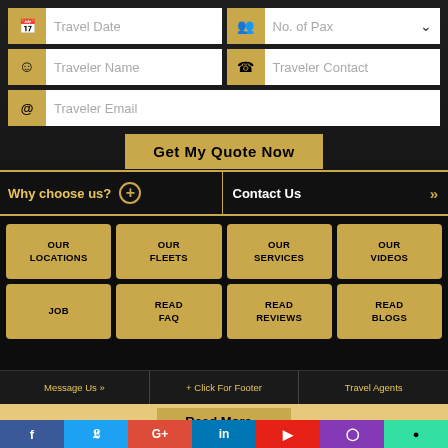[Figure (screenshot): Travel booking form with fields for Travel Date, No. of Pax, Traveler Name, Traveler Contact, Traveler Email, and Get My Quote Now button on dark background]
Travel Date
No. of Pax
Traveler Name
Traveler Contact
Traveler Email
Get My Quote Now
Why choose us?
Contact Us
OUR LOCATIONS
OUR FLEETS
OUR SERVICES
OUR VIDEOS
JOB
READ FAQ
READ REVIEWS
READ BLOGS
Read More »
Message Us »  + Click For Footer  Travel Agents
f  Twitter  G+  in  ▶  Instagram  TripAdvisor